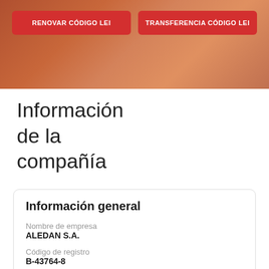[Figure (screenshot): Red header banner with orange/terracotta rock texture background]
RENOVAR CÓDIGO LEI
TRANSFERENCIA CÓDIGO LEI
Información de la compañía
Información general
Nombre de empresa
ALEDAN S.A.
Código de registro
B-43764-8
Estado del registro